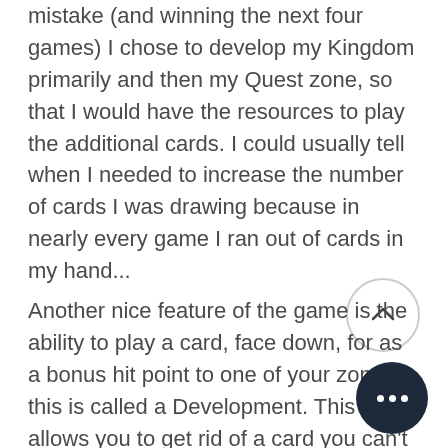mistake (and winning the next four games) I chose to develop my Kingdom primarily and then my Quest zone, so that I would have the resources to play the additional cards. I could usually tell when I needed to increase the number of cards I was drawing because in nearly every game I ran out of cards in my hand...
Another nice feature of the game is the ability to play a card, face down, for as a bonus hit point to one of your zones, this is called a Development. This allows you to get rid of a card you can't use or wont be able to play for a long time, for an immediate benefit. If you know your deck you can pre-empt cards. For example I know that the Troll Slayer need